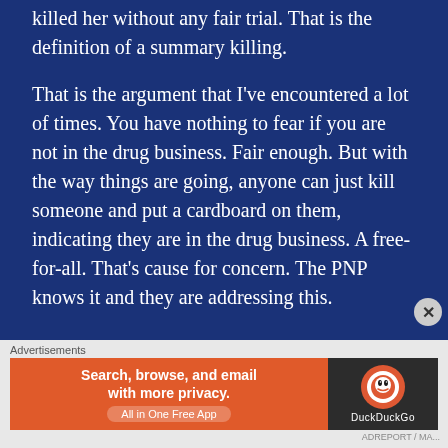killed her without any fair trial. That is the definition of a summary killing.

That is the argument that I've encountered a lot of times. You have nothing to fear if you are not in the drug business. Fair enough. But with the way things are going, anyone can just kill someone and put a cardboard on them, indicating they are in the drug business. A free-for-all. That's cause for concern. The PNP knows it and they are addressing this.
[Figure (other): DuckDuckGo advertisement banner: orange section with text 'Search, browse, and email with more privacy. All in One Free App' and dark section with DuckDuckGo logo and name.]